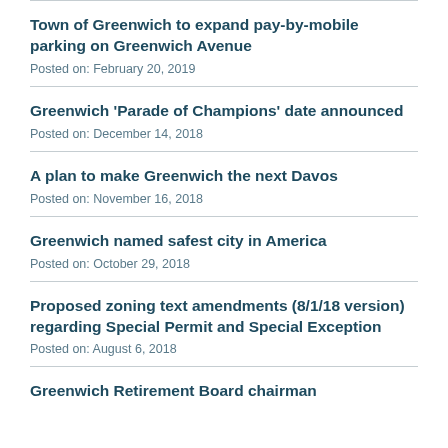Town of Greenwich to expand pay-by-mobile parking on Greenwich Avenue
Posted on: February 20, 2019
Greenwich ‘Parade of Champions’ date announced
Posted on: December 14, 2018
A plan to make Greenwich the next Davos
Posted on: November 16, 2018
Greenwich named safest city in America
Posted on: October 29, 2018
Proposed zoning text amendments (8/1/18 version) regarding Special Permit and Special Exception
Posted on: August 6, 2018
Greenwich Retirement Board chairman